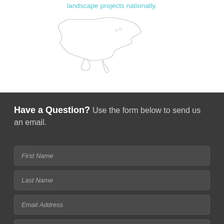[Figure (map): Outline map of the contiguous United States with cyan/teal text above reading 'landscape projects nationally.']
Have a Question? Use the form below to send us an email.
First Name
Last Name
Email Address
Phone Number